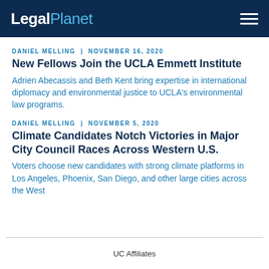LegalPlanet
DANIEL MELLING | NOVEMBER 16, 2020
New Fellows Join the UCLA Emmett Institute
Adrien Abecassis and Beth Kent bring expertise in international diplomacy and environmental justice to UCLA's environmental law programs.
DANIEL MELLING | NOVEMBER 5, 2020
Climate Candidates Notch Victories in Major City Council Races Across Western U.S.
Voters choose new candidates with strong climate platforms in Los Angeles, Phoenix, San Diego, and other large cities across the West
UC Affiliates